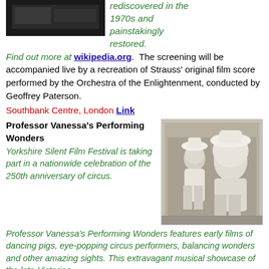[Figure (photo): Dark historical film still at top of page]
rediscovered in the 1970s and painstakingly restored. Find out more at wikipedia.org. The screening will be accompanied live by a recreation of Strauss' original film score performed by the Orchestra of the Enlightenment, conducted by Geoffrey Paterson.
Southbank Centre, London Link
Professor Vanessa's Performing Wonders
[Figure (photo): Black and white photo of two performers in Victorian costume, one dressed as a pig]
Yorkshire Silent Film Festival is taking part in a nationwide celebration of the 250th anniversary of circus. Professor Vanessa's Performing Wonders features early films of dancing pigs, eye-popping circus performers, balancing wonders and other amazing sights. This extravagant musical showcase of the late-Victorian